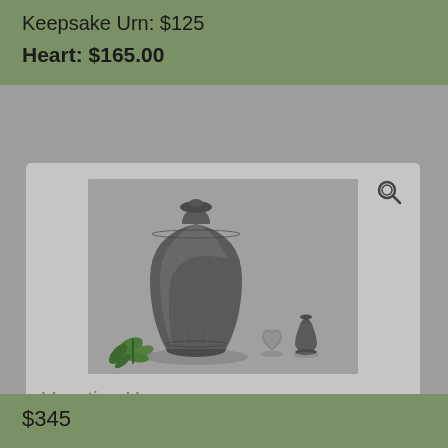Keepsake Urn: $125
Heart: $165.00
[Figure (photo): Photo of a Venetian urn set showing a large dark pewter-finish brass urn with etched leaf detail, accompanied by a small heart-shaped keepsake, a miniature urn, and a sprig of green leaves on a grey background. A magnifier/zoom icon appears in the upper right corner.]
Venetian Urn
Solid brass, pewter finish, etched leaf detail. 10 ½" high - 6" diameter. Suitable for shipping.
$345